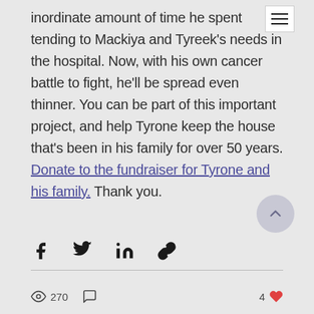inordinate amount of time he spent tending to Mackiya and Tyreek's needs in the hospital. Now, with his own cancer battle to fight, he'll be spread even thinner. You can be part of this important project, and help Tyrone keep the house that's been in his family for over 50 years. Donate to the fundraiser for Tyrone and his family. Thank you.
[Figure (other): Back to top button (upward chevron icon in a circular grey button)]
[Figure (other): Social share icons: Facebook, Twitter, LinkedIn, link/copy]
270  4 ♥